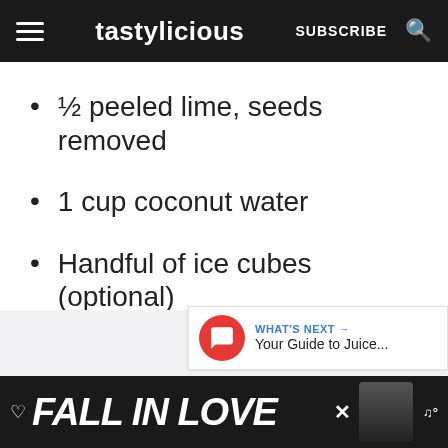tastylicious | SUBSCRIBE
½ peeled lime, seeds removed
1 cup coconut water
Handful of ice cubes (optional)
[Figure (screenshot): Social action buttons: heart/like button (blue circle) with count 11, and share button (white circle). What's Next widget showing a red icon and text 'Your Guide to Juice...']
FALL IN LOVE (advertisement banner)